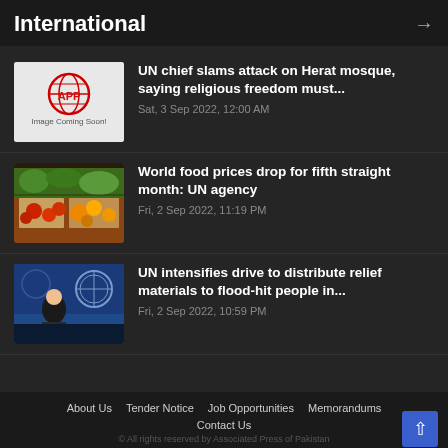International
UN chief slams attack on Herat mosque, saying religious freedom must...
Sat, 3 Sep 2022, 12:00 AM
[Figure (photo): APP News logo placeholder image]
World food prices drop for fifth straight month: UN agency
Fri, 2 Sep 2022, 11:19 PM
[Figure (photo): Produce/food market image with fruits and vegetables]
UN intensifies drive to distribute relief materials to flood-hit people in...
Fri, 2 Sep 2022, 10:59 PM
[Figure (photo): UN press conference with woman speaking at podium with UN logo in background]
About Us   Tender Notice   Job Opportunities   Memorandums   Contact Us